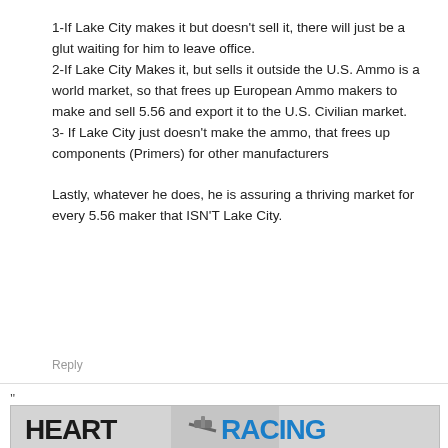1-If Lake City makes it but doesn't sell it, there will just be a glut waiting for him to leave office. 2-If Lake City Makes it, but sells it outside the U.S. Ammo is a world market, so that frees up European Ammo makers to make and sell 5.56 and export it to the U.S. Civilian market. 3- If Lake City just doesn't make the ammo, that frees up components (Primers) for other manufacturers

Lastly, whatever he does, he is assuring a thriving market for every 5.56 maker that ISN'T Lake City.
Reply
"
[Figure (photo): HEART RACING advertisement banner with stylized text and a gun/weapon image in the center]